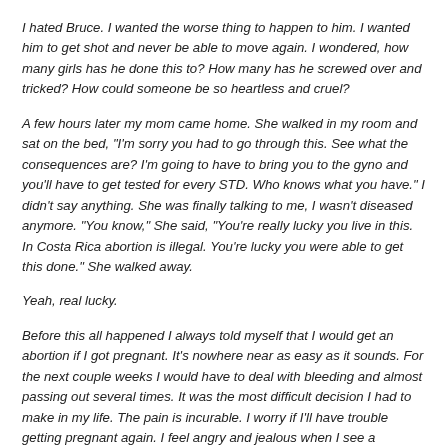I hated Bruce. I wanted the worse thing to happen to him. I wanted him to get shot and never be able to move again. I wondered, how many girls has he done this to? How many has he screwed over and tricked? How could someone be so heartless and cruel?
A few hours later my mom came home. She walked in my room and sat on the bed, "I'm sorry you had to go through this. See what the consequences are? I'm going to have to bring you to the gyno and you'll have to get tested for every STD. Who knows what you have." I didn't say anything. She was finally talking to me, I wasn't diseased anymore. "You know," She said, "You're really lucky you live in this. In Costa Rica abortion is illegal. You're lucky you were able to get this done." She walked away.
Yeah, real lucky.
Before this all happened I always told myself that I would get an abortion if I got pregnant. It's nowhere near as easy as it sounds. For the next couple weeks I would have to deal with bleeding and almost passing out several times. It was the most difficult decision I had to make in my life. The pain is incurable. I worry if I'll have trouble getting pregnant again. I feel angry and jealous when I see a pregnant woman, I feel as if she's